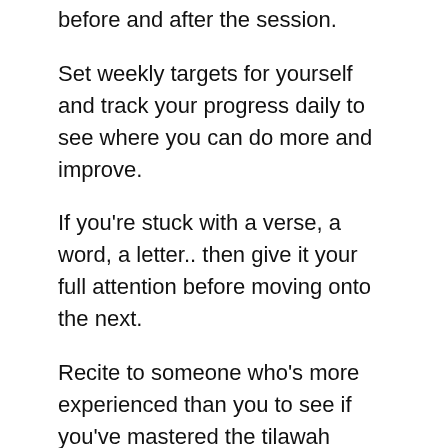before and after the session.
Set weekly targets for yourself and track your progress daily to see where you can do more and improve.
If you're stuck with a verse, a word, a letter.. then give it your full attention before moving onto the next.
Recite to someone who's more experienced than you to see if you've mastered the tilawah before reciting to your teacher- especially in the earlier stages.
Recite for at least 15 minutes out loud daily, when you're starting out and then gradually increase the time to 30 minutes, 45 minutes and an hour. Practicing in this manner will build your stamina to recite more over the same duration.